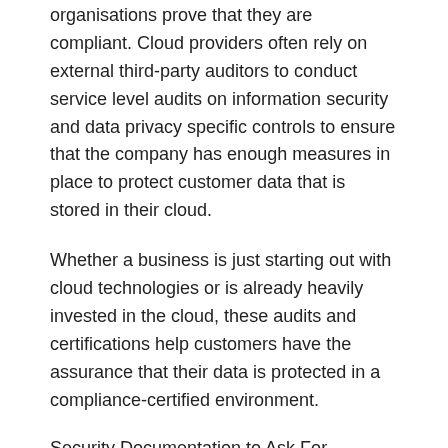organisations prove that they are compliant. Cloud providers often rely on external third-party auditors to conduct service level audits on information security and data privacy specific controls to ensure that the company has enough measures in place to protect customer data that is stored in their cloud.
Whether a business is just starting out with cloud technologies or is already heavily invested in the cloud, these audits and certifications help customers have the assurance that their data is protected in a compliance-certified environment.
Security Documentation to Ask For
There has been a large increase in the volume of information security audits and certifications offered around the world. Individual industries have developed unique, comprehensive standards alongside government regulators in industries such as banking, healthcare, and manufacturing. Other global certification bodies, such as